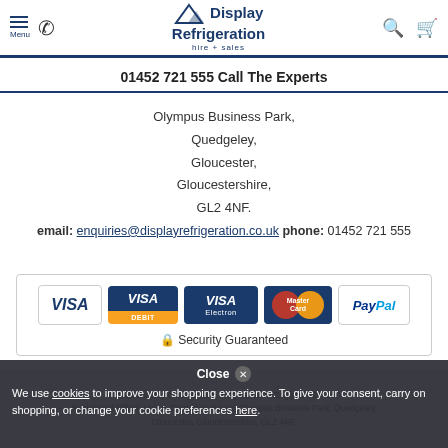Menu | Phone | Display Refrigeration hire + sales | Search | Cart
01452 721 555 Call The Experts
Olympus Business Park,
Quedgeley,
Gloucester,
Gloucestershire,
GL2 4NF.
email: enquiries@displayrefrigeration.co.uk  phone: 01452 721 555
[Figure (other): Payment method logos: VISA, VISA Debit, VISA Electron, MasterCard, PayPal]
Security Guaranteed
© 2022 Display Refrigeration. Registered in England 4294590
Registered Office: Unit A, Centurion House, Olympus Business Park, Quedgeley, Gloucester, Gloucestershire, GL2 4NF.
Close
We use cookies to improve your shopping experience. To give your consent, carry on shopping, or change your cookie preferences here.